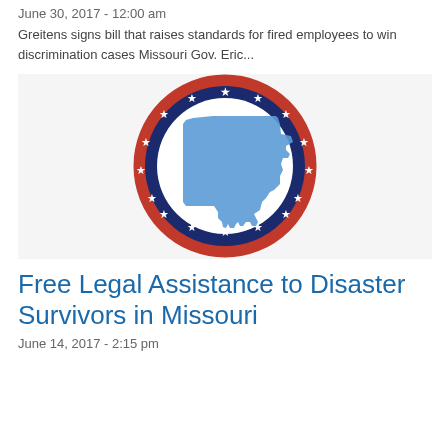June 30, 2017 - 12:00 am
Greitens signs bill that raises standards for fired employees to win discrimination cases Missouri Gov. Eric...
[Figure (illustration): Missouri state seal-style logo with red and blue ring decorated with white stars, white center circle, and blue silhouette of Missouri state map in the center]
Free Legal Assistance to Disaster Survivors in Missouri
June 14, 2017 - 2:15 pm